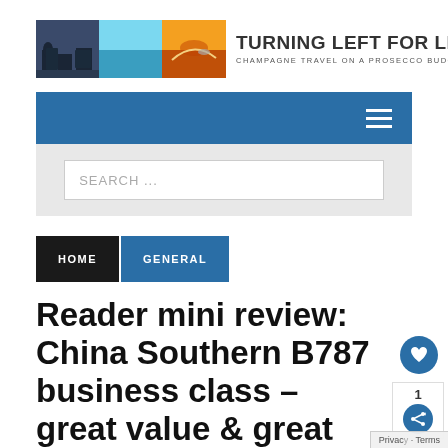[Figure (logo): Turning Left For Less blog logo with three travel images and text 'TURNING LEFT FOR LESS — CHAMPAGNE TRAVEL ON A PROSECCO BUDGET']
[Figure (screenshot): Blue navigation bar with hamburger menu icon on the right]
[Figure (screenshot): Search bar with placeholder text 'SEARCH ...' on grey background]
[Figure (screenshot): Breadcrumb navigation with HOME and GENERAL tabs]
Reader mini review: China Southern B787 business class – great value & great service?